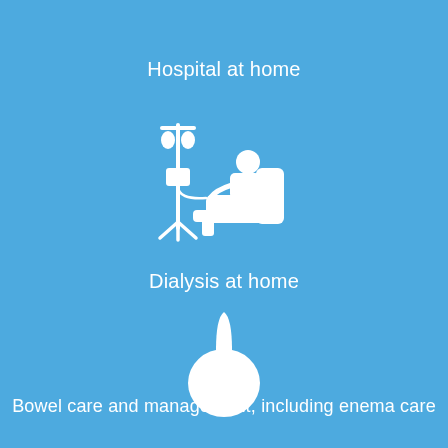Hospital at home
[Figure (illustration): White icon of a patient sitting in a recliner chair connected to an IV drip stand]
Dialysis at home
[Figure (illustration): White icon of an enema bulb/syringe]
Bowel care and management, including enema care